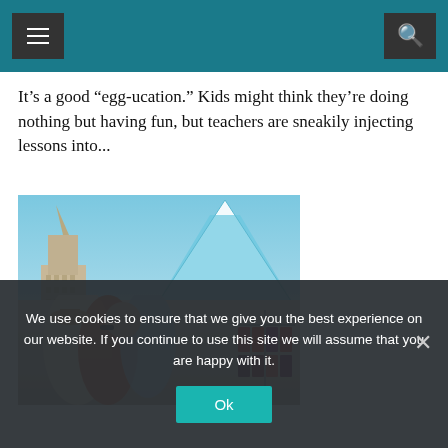Navigation header with menu and search buttons
It’s a good “egg-ucation.” Kids might think they’re doing nothing but having fun, but teachers are sneakily injecting lessons into...
[Figure (photo): Outdoor festival or market scene with a sand sculpture resembling a skyscraper, crowd of people, clothing racks, and a large blue and white tent in the background under a blue sky.]
We use cookies to ensure that we give you the best experience on our website. If you continue to use this site we will assume that you are happy with it.